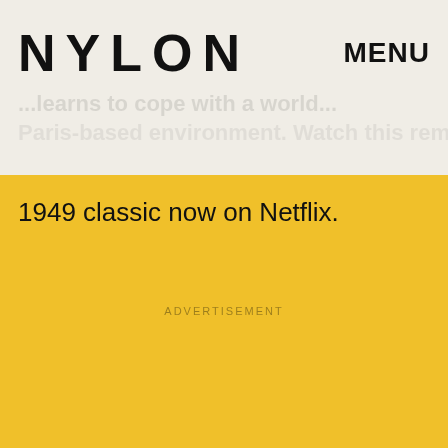NYLON    MENU
...learns to cope with a world...Paris-based environment. Watch this remake of a
1949 classic now on Netflix.
ADVERTISEMENT